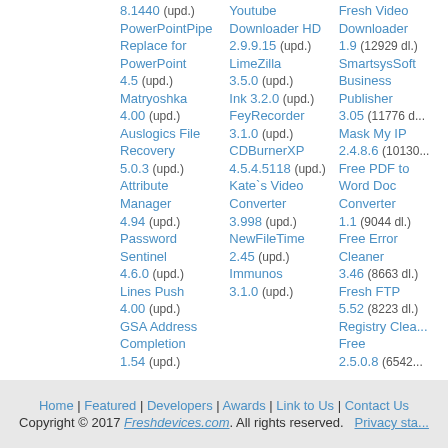8.1440 (upd.) PowerPointPipe Replace for PowerPoint 4.5 (upd.) Matryoshka 4.00 (upd.) Auslogics File Recovery 5.0.3 (upd.) Attribute Manager 4.94 (upd.) Password Sentinel 4.6.0 (upd.) Lines Push 4.00 (upd.) GSA Address Completion 1.54 (upd.)
Youtube Downloader HD 2.9.9.15 (upd.) LimeZilla 3.5.0 (upd.) Ink 3.2.0 (upd.) FeyRecorder 3.1.0 (upd.) CDBurnerXP 4.5.4.5118 (upd.) Kate`s Video Converter 3.998 (upd.) NewFileTime 2.45 (upd.) Immunos 3.1.0 (upd.)
Fresh Video Downloader 1.9 (12929 dl.) SmartsysSoft Business Publisher 3.05 (11776 d... Mask My IP 2.4.8.6 (10130... Free PDF to Word Doc Converter 1.1 (9044 dl.) Free Error Cleaner 3.46 (8663 dl.) Fresh FTP 5.52 (8223 dl.) Registry Clea... Free 2.5.0.8 (6542...
[Figure (other): Get paid up to $50 a click! - advertisement banner with green icon]
Home | Featured | Developers | Awards | Link to Us | Contact Us Copyright © 2017 Freshdevices.com. All rights reserved. Privacy sta...